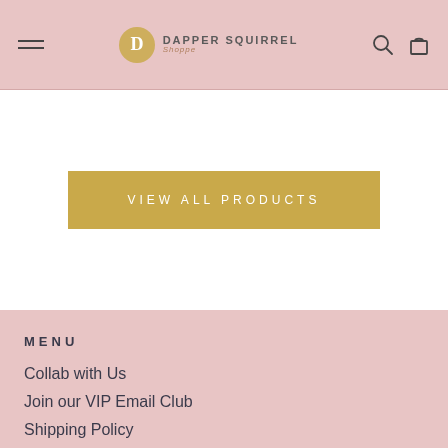Dapper Squirrel - navigation header with hamburger menu, logo, search and cart icons
VIEW ALL PRODUCTS
MENU
Collab with Us
Join our VIP Email Club
Shipping Policy